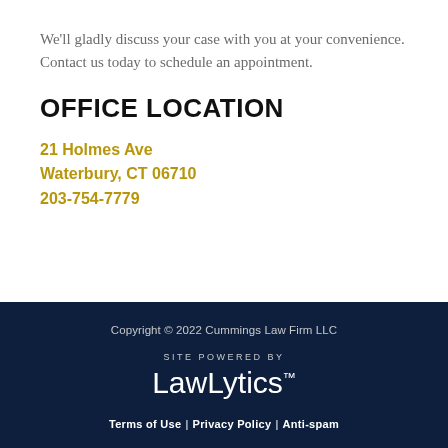We'll gladly discuss your case with you at your convenience. Contact us today to schedule an appointment.
OFFICE LOCATION
21 Holmes Ave
Waterbury, CT 06710
203-754-7779
Copyright © 2022 Cummings Law Firm LLC
SITE POWERED BY LawLytics™
Terms of Use | Privacy Policy | Anti-spam